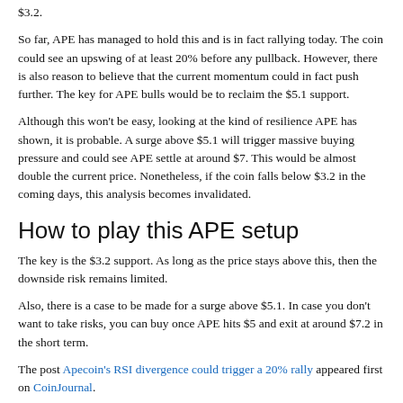$3.2.
So far, APE has managed to hold this and is in fact rallying today. The coin could see an upswing of at least 20% before any pullback. However, there is also reason to believe that the current momentum could in fact push further. The key for APE bulls would be to reclaim the $5.1 support.
Although this won't be easy, looking at the kind of resilience APE has shown, it is probable. A surge above $5.1 will trigger massive buying pressure and could see APE settle at around $7. This would be almost double the current price. Nonetheless, if the coin falls below $3.2 in the coming days, this analysis becomes invalidated.
How to play this APE setup
The key is the $3.2 support. As long as the price stays above this, then the downside risk remains limited.
Also, there is a case to be made for a surge above $5.1. In case you don't want to take risks, you can buy once APE hits $5 and exit at around $7.2 in the short term.
The post Apecoin's RSI divergence could trigger a 20% rally appeared first on CoinJournal.
Filcoin Price Analysis for 3rd of September: FIL/USD Smashes the $6.000000 Re...